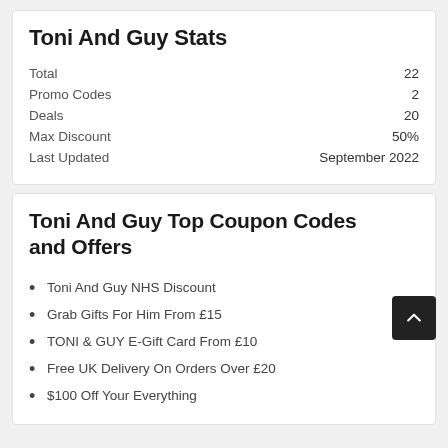Toni And Guy Stats
|  |  |
| --- | --- |
| Total | 22 |
| Promo Codes | 2 |
| Deals | 20 |
| Max Discount | 50% |
| Last Updated | September 2022 |
Toni And Guy Top Coupon Codes and Offers
Toni And Guy NHS Discount
Grab Gifts For Him From £15
TONI & GUY E-Gift Card From £10
Free UK Delivery On Orders Over £20
$100 Off Your Everything